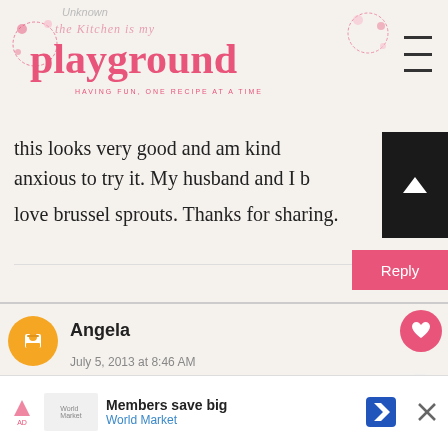Unknown
the Kitchen is my playground
Having fun, one recipe at a time
this looks very good and am kind anxious to try it. My husband and I b love brussel sprouts. Thanks for sharing.
Reply
[Figure (illustration): Blogger commenter avatar - orange circle with white B icon for Angela]
Angela
July 5, 2013 at 8:46 AM
I adore brussels sprouts salad looking at your ingredients, this is a major winner, bacon and sunflower seeds and
[Figure (photo): Maple-Glazed Brussels sprouts dish thumbnail with WHAT'S NEXT label]
Members save big
World Market